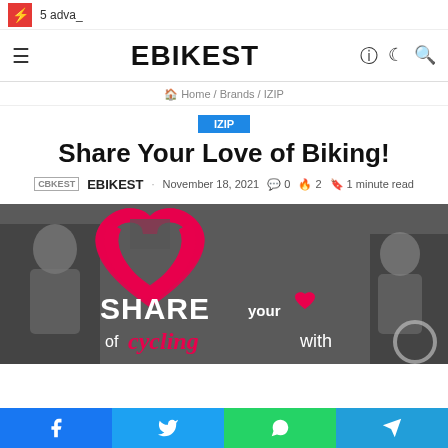5 adva_
EBIKEST
Home / Brands / IZIP
IZIP
Share Your Love of Biking!
EBIKEST  · November 18, 2021  💬 0  🔥 2  🔖 1 minute read
[Figure (photo): Hero image showing cyclists with a large red heart outline overlay and text 'SHARE YOUR of cycling with']
Facebook  Twitter  WhatsApp  Telegram